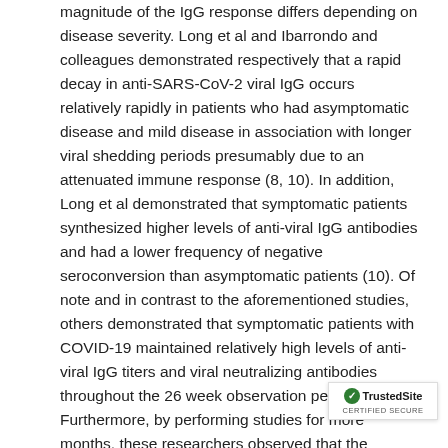magnitude of the IgG response differs depending on disease severity. Long et al and Ibarrondo and colleagues demonstrated respectively that a rapid decay in anti-SARS-CoV-2 viral IgG occurs relatively rapidly in patients who had asymptomatic disease and mild disease in association with longer viral shedding periods presumably due to an attenuated immune response (8, 10). In addition, Long et al demonstrated that symptomatic patients synthesized higher levels of anti-viral IgG antibodies and had a lower frequency of negative seroconversion than asymptomatic patients (10). Of note and in contrast to the aforementioned studies, others demonstrated that symptomatic patients with COVID-19 maintained relatively high levels of anti-viral IgG titers and viral neutralizing antibodies throughout the 26 week observation period. Furthermore, by performing studies for more months, these researchers observed that the